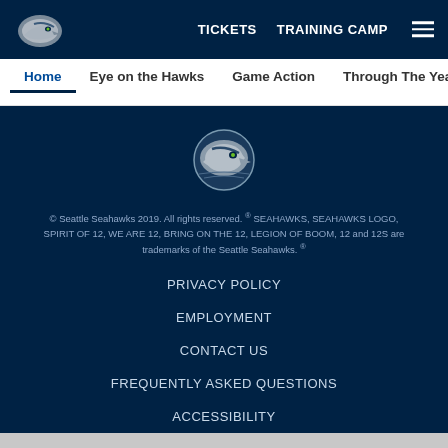TICKETS  TRAINING CAMP
Home  Eye on the Hawks  Game Action  Through The Years  Fla
[Figure (logo): Seattle Seahawks logo centered in dark navy footer]
© Seattle Seahawks 2019. All rights reserved. ® SEAHAWKS, SEAHAWKS LOGO, SPIRIT OF 12, WE ARE 12, BRING ON THE 12, LEGION OF BOOM, 12 and 12S are trademarks of the Seattle Seahawks. ®
PRIVACY POLICY
EMPLOYMENT
CONTACT US
FREQUENTLY ASKED QUESTIONS
ACCESSIBILITY